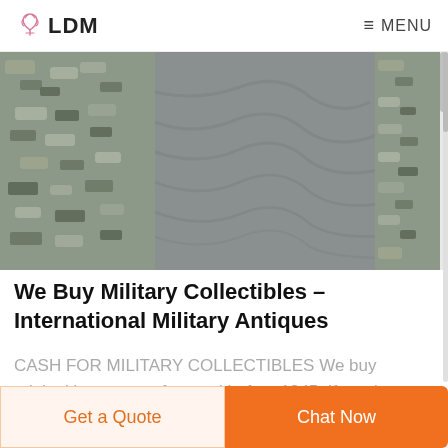LDM  MENU
[Figure (photo): Close-up photo of a person wearing a military combat shirt with digital camouflage pattern sleeves (ACU pattern) and a plain gray torso section]
We Buy Military Collectibles – International Military Antiques
CASH FOR MILITARY COLLECTIBLES We buy original items manufactured before 1945. If you have something military in nature and are interested
Get a Quote   Chat Now